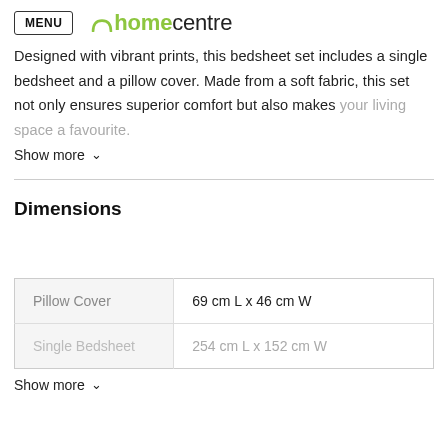MENU homecentre
Designed with vibrant prints, this bedsheet set includes a single bedsheet and a pillow cover. Made from a soft fabric, this set not only ensures superior comfort but also makes your living space a favourite.
Show more
Dimensions
|  |  |
| --- | --- |
| Pillow Cover | 69 cm L x 46 cm W |
| Single Bedsheet | 254 cm L x 152 cm W |
Show more